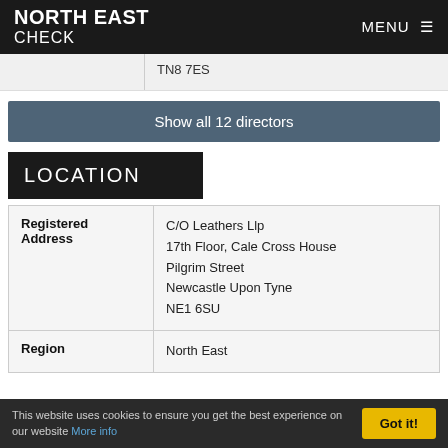NORTH EAST CHECK  MENU
TN8 7ES
Show all 12 directors
LOCATION
| Registered Address | C/O Leathers Llp
17th Floor, Cale Cross House
Pilgrim Street
Newcastle Upon Tyne
NE1 6SU |
| Region | North East |
This website uses cookies to ensure you get the best experience on our website More info  Got it!